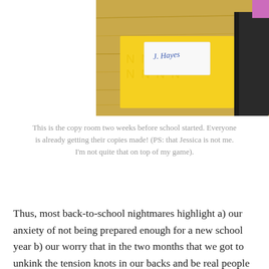[Figure (photo): Photo of a copy room with a yellow notebook or folder labeled 'J. Hayes' or 'Hayes' in handwriting, taken two weeks before school started]
This is the copy room two weeks before school started. Everyone is already getting their copies made! (PS: that Jessica is not me. I'm not quite that on top of my game).
Thus, most back-to-school nightmares highlight a) our anxiety of not being prepared enough for a new school year b) our worry that in the two months that we got to unkink the tension knots in our backs and be real people that we forgot how to teach, and c) that we will not make the critical good first impression on our students that we need to in order to have a successful school year. Because the research states that most students make